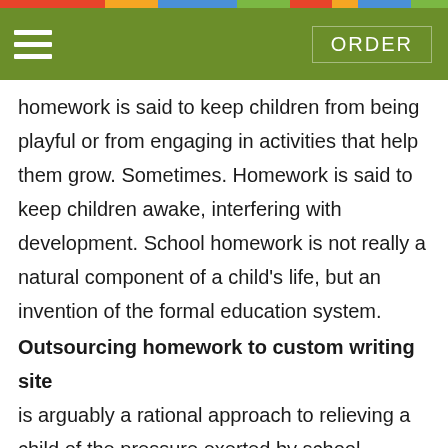ORDER
homework is said to keep children from being playful or from engaging in activities that help them grow. Sometimes. Homework is said to keep children awake, interfering with development. School homework is not really a natural component of a child's life, but an invention of the formal education system.
Outsourcing homework to custom writing site
is arguably a rational approach to relieving a child of the pressure exerted by school assignments. Pay writer online to do homework and grow healthy.